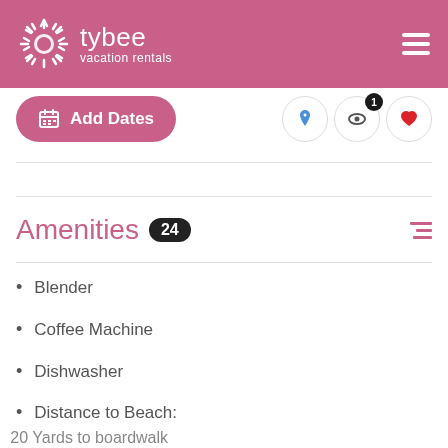tybee vacation rentals
Add Dates
Amenities 24
Blender
Coffee Machine
Dishwasher
Distance to Beach: 20 Yards to boardwalk